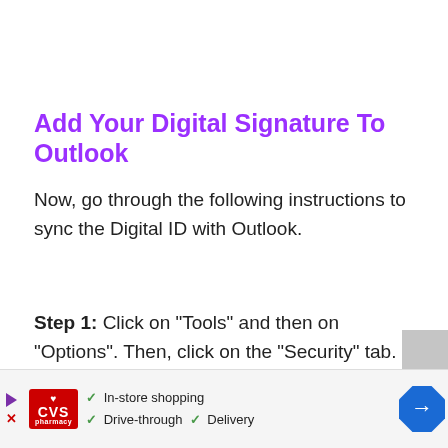Add Your Digital Signature To Outlook
Now, go through the following instructions to sync the Digital ID with Outlook.
Step 1: Click on “Tools” and then on “Options”. Then, click on the “Security” tab.
Step 2: Enter a name that you like in the “Se...